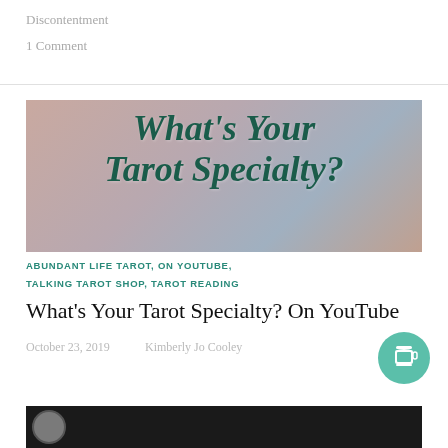Discontentment
1 Comment
[Figure (illustration): Blog post banner image with cursive dark green text reading "What's Your Tarot Specialty?" on a soft blurred tarot card background.]
ABUNDANT LIFE TAROT , ON YOUTUBE , TALKING TAROT SHOP , TAROT READING
What’s Your Tarot Specialty? On YouTube
October 23, 2019   Kimberly Jo Cooley
[Figure (screenshot): Partial video thumbnail showing a dark background with a circular avatar photo at the bottom left.]